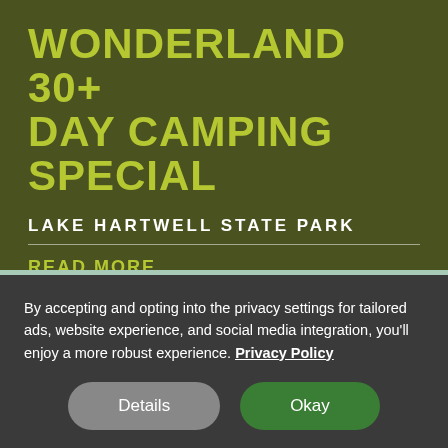WONDERLAND 30+ DAY CAMPING SPECIAL
LAKE HARTWELL STATE PARK
READ MORE
[Figure (illustration): Event icon — a rectangular sign labeled EVENT with a plus symbol below, representing adding an event]
By accepting and opting into the privacy settings for tailored ads, website experience, and social media integration, you'll enjoy a more robust experience. Privacy Policy
Details
Okay